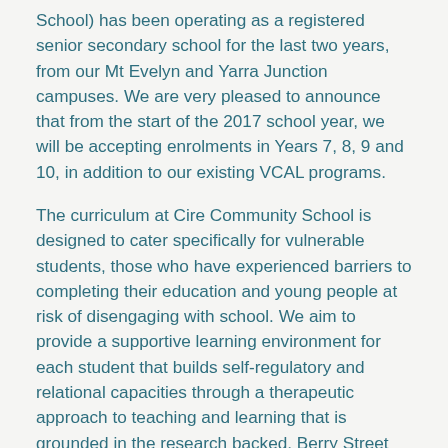School) has been operating as a registered senior secondary school for the last two years, from our Mt Evelyn and Yarra Junction campuses. We are very pleased to announce that from the start of the 2017 school year, we will be accepting enrolments in Years 7, 8, 9 and 10, in addition to our existing VCAL programs.
The curriculum at Cire Community School is designed to cater specifically for vulnerable students, those who have experienced barriers to completing their education and young people at risk of disengaging with school. We aim to provide a supportive learning environment for each student that builds self-regulatory and relational capacities through a therapeutic approach to teaching and learning that is grounded in the research backed, Berry Street Education Model. The school provides students with a planned and structured program to equip them with the knowledge, skills and attitudes needed to complete their education and to make successful...